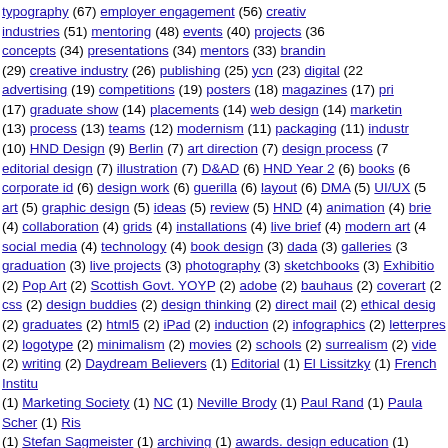typography (67) employer_engagement (56) creative_industries (51) mentoring (48) events (40) projects (36) concepts (34) presentations (34) mentors (33) branding (29) creative_industry (26) publishing (25) ycn (23) digital (22) advertising (19) competitions (19) posters (18) magazines (17) print (17) graduate_show (14) placements (14) web_design (14) marketing (13) process (13) teams (12) modernism (11) packaging (11) industry (10) HND_Design (9) Berlin (7) art_direction (7) design_process (7) editorial_design (7) illustration (7) D&AD (6) HND_Year_2 (6) books (6) corporate_id (6) design_work (6) guerilla (6) layout (6) DMA (5) UI/UX (5) art (5) graphic_design (5) ideas (5) review (5) HND (4) animation (4) brief (4) collaboration (4) grids (4) installations (4) live_brief (4) modern_art (4) social_media (4) technology (4) book_design (3) dada (3) galleries (3) graduation (3) live_projects (3) photography (3) sketchbooks (3) Exhibitions (2) Pop_Art (2) Scottish_Govt._YOYP (2) adobe (2) bauhaus (2) coverart (2) css (2) design_buddies (2) design_thinking (2) direct_mail (2) ethical_design (2) graduates (2) html5 (2) iPad (2) induction (2) infographics (2) letterpress (2) logotype (2) minimalism (2) movies (2) schools (2) surrealism (2) video (2) writing (2) Daydream_Believers (1) Editorial (1) El_Lissitzky (1) French_Institute (1) Marketing_Society (1) NC (1) Neville_Brody (1) Paul_Rand (1) Paula_Scher (1) Ris (1) Stefan_Sagmeister (1) archiving (1) awards._design_education (1) colour (1) conferences (1) creative (1) creative_advertising (1) degree (1) design_books (1) design_context (1) design_sprints (1) drawing (1) eductaion (1) flash (1) moodboards (1) motion_graphics (1) photoshop (1) printmaking (1) responsive_design (1) risograph